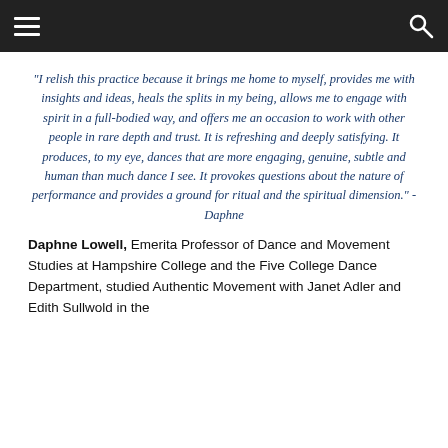≡  🔍
“I relish this practice because it brings me home to myself, provides me with insights and ideas, heals the splits in my being, allows me to engage with spirit in a full-bodied way, and offers me an occasion to work with other people in rare depth and trust. It is refreshing and deeply satisfying. It produces, to my eye, dances that are more engaging, genuine, subtle and human than much dance I see. It provokes questions about the nature of performance and provides a ground for ritual and the spiritual dimension.” - Daphne
Daphne Lowell, Emerita Professor of Dance and Movement Studies at Hampshire College and the Five College Dance Department, studied Authentic Movement with Janet Adler and Edith Sullwold in the